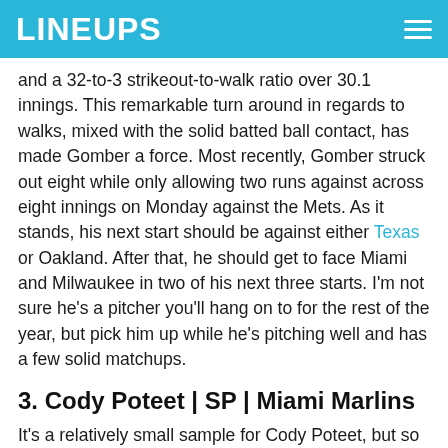LINEUPS
and a 32-to-3 strikeout-to-walk ratio over 30.1 innings. This remarkable turn around in regards to walks, mixed with the solid batted ball contact, has made Gomber a force. Most recently, Gomber struck out eight while only allowing two runs against across eight innings on Monday against the Mets. As it stands, his next start should be against either Texas or Oakland. After that, he should get to face Miami and Milwaukee in two of his next three starts. I'm not sure he's a pitcher you'll hang on to for the rest of the year, but pick him up while he's pitching well and has a few solid matchups.
3. Cody Poteet | SP | Miami Marlins
It's a relatively small sample for Cody Poteet, but so far it has been promising. The 26-year-old Miami Marlins rookie has a 1.06 ERA, 13 strikeouts, and two walks across the first three starts of his major league career. In those 17 innings pitched, Poteet has given up 47 batted balls and only 2.1% of them